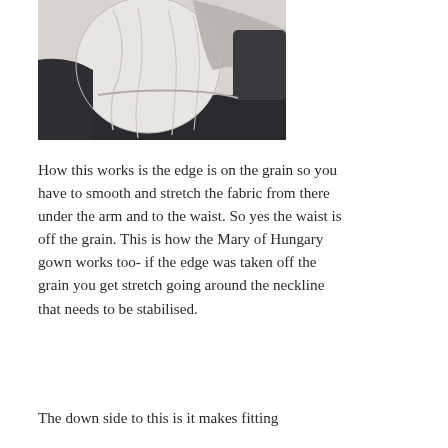[Figure (photo): Photo of the back/side torso of a person wearing a white garment, showing fabric draping and fit around the waist and arm area, with dark pants visible below.]
How this works is the edge is on the grain so you have to smooth and stretch the fabric from there  under the arm and to the waist. So yes the waist is off the grain. This is how the Mary of Hungary gown works too- if the edge was taken off the grain you get stretch going around the neckline that needs to be stabilised.
The down side to this is it makes fitting the...